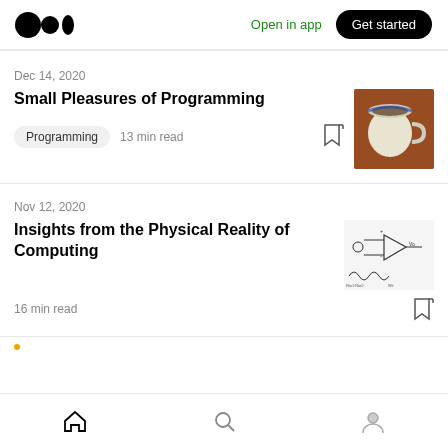Medium logo | Open in app | Get started
Dec 14, 2020
Small Pleasures of Programming
Programming  13 min read
[Figure (photo): Thumbnail photo of a ceramic coffee mug from above, showing a warm brown background]
Nov 12, 2020
Insights from the Physical Reality of Computing
[Figure (engineering-diagram): Thumbnail showing an electronic circuit schematic with an op-amp and waveform labels]
16 min read
Home | Search | Profile